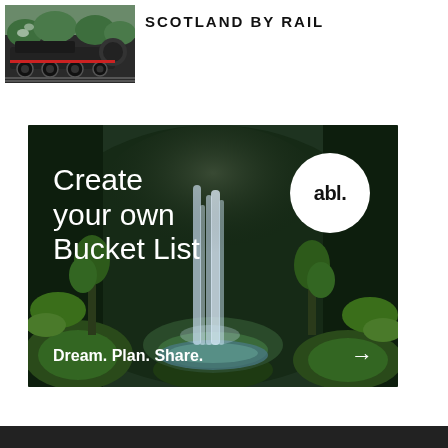[Figure (photo): Black steam locomotive train on tracks with green background]
SCOTLAND BY RAIL
[Figure (illustration): Advertisement banner: mossy green forest with waterfall, white circle logo with 'abl.' text. Text: 'Create your own Bucket List' and 'Dream. Plan. Share.' with arrow.]